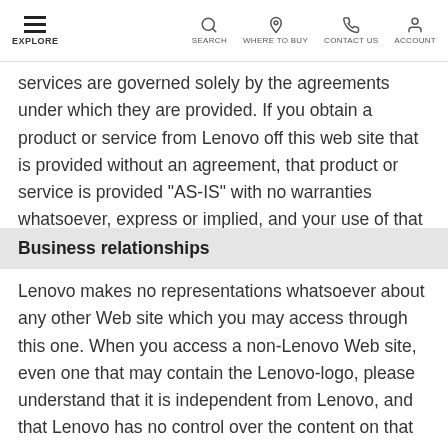EXPLORE | SEARCH | WHERE TO BUY | CONTACT US | ACCOUNT
services are governed solely by the agreements under which they are provided. If you obtain a product or service from Lenovo off this web site that is provided without an agreement, that product or service is provided "AS-IS" with no warranties whatsoever, express or implied, and your use of that product or service is at your own risk.
Business relationships
Lenovo makes no representations whatsoever about any other Web site which you may access through this one. When you access a non-Lenovo Web site, even one that may contain the Lenovo-logo, please understand that it is independent from Lenovo, and that Lenovo has no control over the content on that Web site. In addition, a link to a